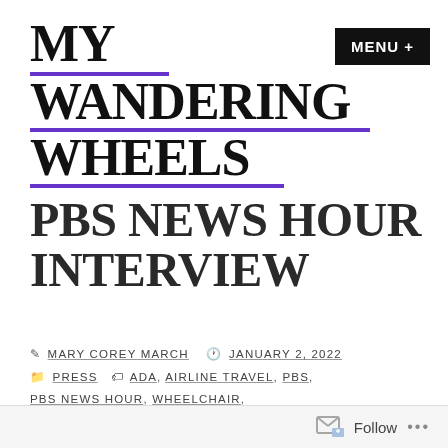MY WANDERING WHEELS
MENU +
PBS NEWS HOUR INTERVIEW
By MARY COREY MARCH  |  JANUARY 2, 2022  |  PRESS  |  ADA, AIRLINE TRAVEL, PBS, PBS NEWS HOUR, WHEELCHAIR, WHEELCHAIR AIRLINE TRAVEL, WHEELCHAIR TRAVEL